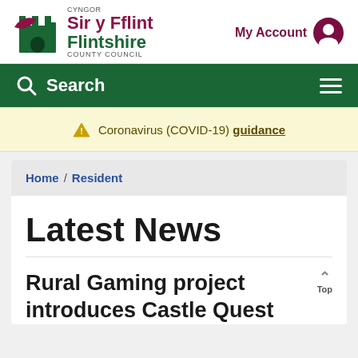[Figure (logo): Flintshire County Council logo with castle icon, Welsh and English names]
My Account
Search
Coronavirus (COVID-19) guidance
Home / Resident
Latest News
Rural Gaming project introduces Castle Quest